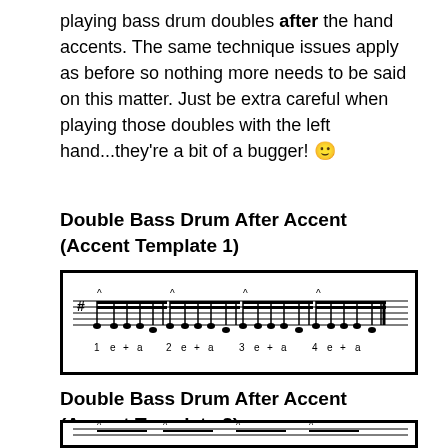playing bass drum doubles after the hand accents. The same technique issues apply as before so nothing more needs to be said on this matter. Just be extra careful when playing those doubles with the left hand...they're a bit of a bugger! 😊
Double Bass Drum After Accent (Accent Template 1)
[Figure (other): Music notation showing a drum pattern for Double Bass Drum After Accent Accent Template 1, with notes on a staff with beat numbers 1 e + a 2 e + a 3 e + a 4 e + a]
Double Bass Drum After Accent (Accent Template 2)
[Figure (other): Music notation showing a drum pattern for Double Bass Drum After Accent Accent Template 2, partially visible at bottom of page]